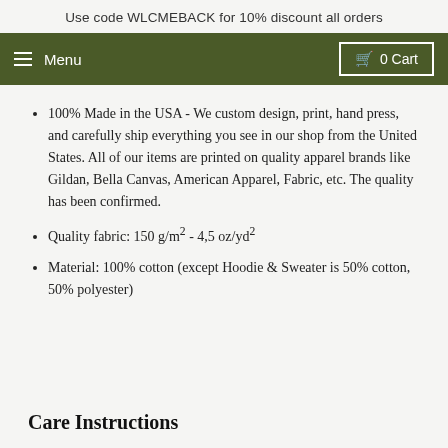Use code WLCMEBACK for 10% discount all orders
Menu   0 Cart
100% Made in the USA - We custom design, print, hand press, and carefully ship everything you see in our shop from the United States. All of our items are printed on quality apparel brands like Gildan, Bella Canvas, American Apparel, Fabric, etc. The quality has been confirmed.
Quality fabric: 150 g/m² - 4,5 oz/yd²
Material: 100% cotton (except Hoodie & Sweater is 50% cotton, 50% polyester)
Care Instructions